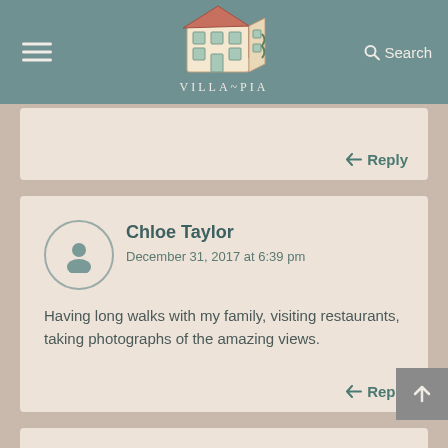VILLA~PIA
Reply
Chloe Taylor
December 31, 2017 at 6:39 pm
Having long walks with my family, visiting restaurants, taking photographs of the amazing views.
Reply